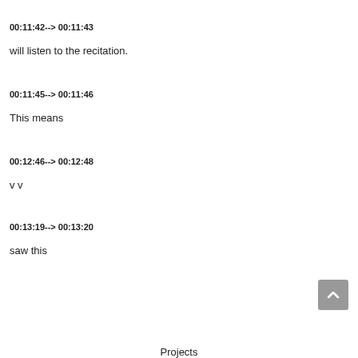00:11:42--> 00:11:43
will listen to the recitation.
00:11:45--> 00:11:46
This means
00:12:46--> 00:12:48
v v
00:13:19--> 00:13:20
saw this
Projects